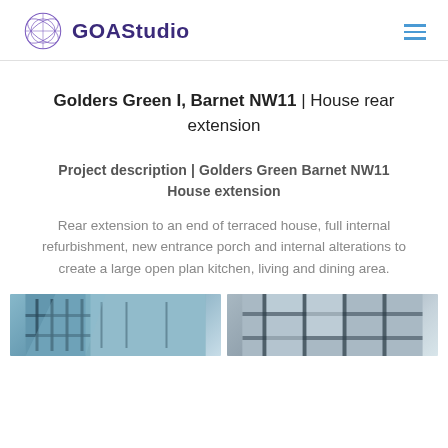[Figure (logo): GOAStudio logo with circular geometric icon in purple and bold dark purple text 'GOAStudio']
Golders Green I, Barnet NW11 | House rear extension
Project description | Golders Green Barnet NW11 House extension
Rear extension to an end of terraced house, full internal refurbishment, new entrance porch and internal alterations to create a large open plan kitchen, living and dining area.
[Figure (photo): Two photos showing architectural details of a house extension with glass and steel elements]